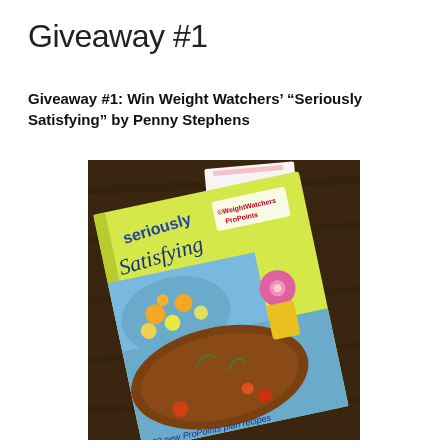Giveaway #1
Giveaway #1: Win Weight Watchers’ “Seriously Satisfying” by Penny Stephens
[Figure (photo): Photo of the Weight Watchers 'Seriously Satisfying' cookbook by Penny Stephens, showing the book cover with food images and the text '130 new ProPoints plan recipes', placed on a dark wooden table.]